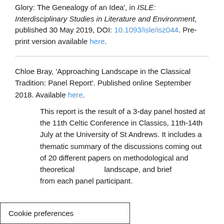Glory: The Genealogy of an Idea', in ISLE: Interdisciplinary Studies in Literature and Environment, published 30 May 2019, DOI: 10.1093/isle/isz044. Pre-print version available here.
Chloe Bray, 'Approaching Landscape in the Classical Tradition: Panel Report'. Published online September 2018. Available here.
This report is the result of a 3-day panel hosted at the 11th Celtic Conference in Classics, 11th-14th July at the University of St Andrews. It includes a thematic summary of the discussions coming out of 20 different papers on methodological and theoretical approaches to landscape, and brief responses from each panel participant.
Cookie preferences